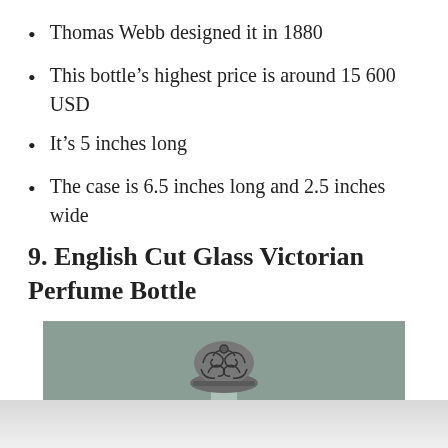Thomas Webb designed it in 1880
This bottle's highest price is around 15 600 USD
It's 5 inches long
The case is 6.5 inches long and 2.5 inches wide
9. English Cut Glass Victorian Perfume Bottle
[Figure (photo): Photo of an English Cut Glass Victorian Perfume Bottle showing a decorative silver/metal ornate cap on top of a glass bottle body, displayed against a muted sage green background. The bottom of the image shows a reflection on a light surface.]